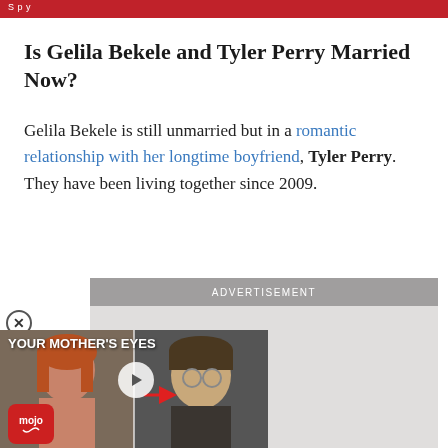S p y
Is Gelila Bekele and Tyler Perry Married Now?
Gelila Bekele is still unmarried but in a romantic relationship with her longtime boyfriend, Tyler Perry. They have been living together since 2009.
[Figure (screenshot): Advertisement banner with a WatchMojo video thumbnail showing a girl with red hair and a boy with glasses with text 'YOUR MOTHER'S EYES' and a play button, along with the mojo logo.]